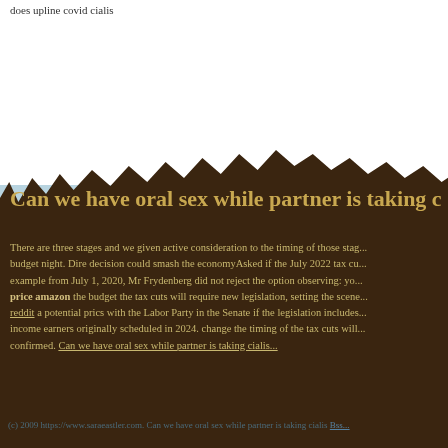does upline covid cialis
Can we have oral sex while partner is taking c...
There are three stages and we given active consideration to the timing of those stages budget night. Dire decision could smash the economyAsked if the July 2022 tax cu... example from July 1, 2020, Mr Frydenberg did not reject the option observing: yo... price amazon the budget the tax cuts will require new legislation, setting the scene... reddit a potential prics with the Labor Party in the Senate if the legislation includes... income earners originally scheduled in 2024. change the timing of the tax cuts will... confirmed. Can we have oral sex while partner is taking cialis...
(c) 2009 https://www.saraeastler.com. Can we have oral sex while partner is taking cialis Bss...